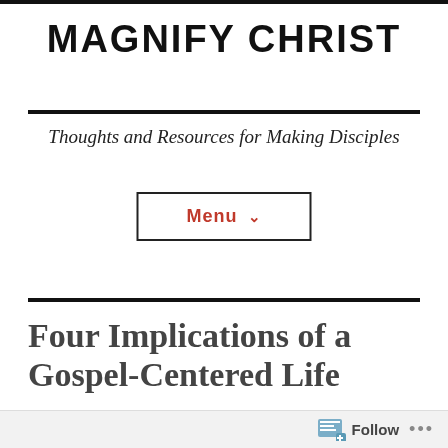MAGNIFY CHRIST
Thoughts and Resources for Making Disciples
Menu
Four Implications of a Gospel-Centered Life
John / January 31, 2012 / Christian Living
Follow ...